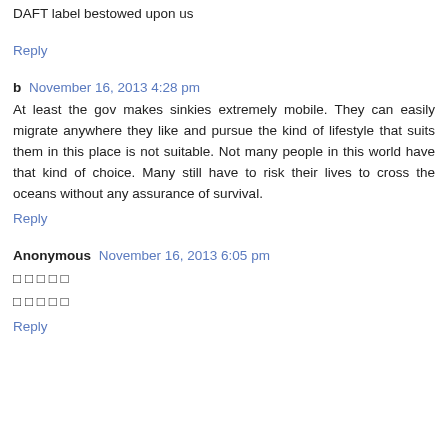DAFT label bestowed upon us
Reply
b  November 16, 2013 4:28 pm
At least the gov makes sinkies extremely mobile. They can easily migrate anywhere they like and pursue the kind of lifestyle that suits them in this place is not suitable. Not many people in this world have that kind of choice. Many still have to risk their lives to cross the oceans without any assurance of survival.
Reply
Anonymous  November 16, 2013 6:05 pm
□ □ □ □ □
□ □ □ □ □
Reply